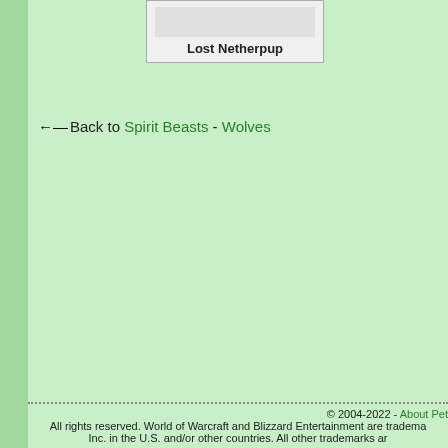[Figure (other): Card with image area and title 'Lost Netherpup']
← Back to Spirit Beasts - Wolves
© 2004-2022 - About Pet
All rights reserved. World of Warcraft and Blizzard Entertainment are trademarks of Blizzard Entertainment, Inc. in the U.S. and/or other countries. All other trademarks are